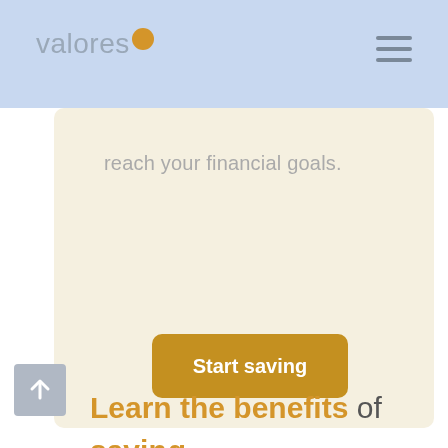valores
reach your financial goals.
Start saving
Learn the benefits of